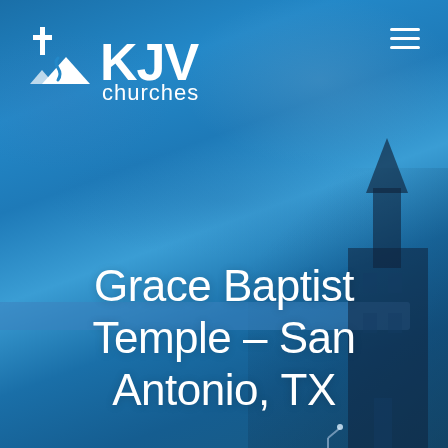[Figure (logo): KJV Churches logo with cross and mountain/church icon in white, on blue background]
Grace Baptist Temple - San Antonio, TX
[Figure (photo): Blue sky background with clouds and partial church building silhouette visible in lower right corner]